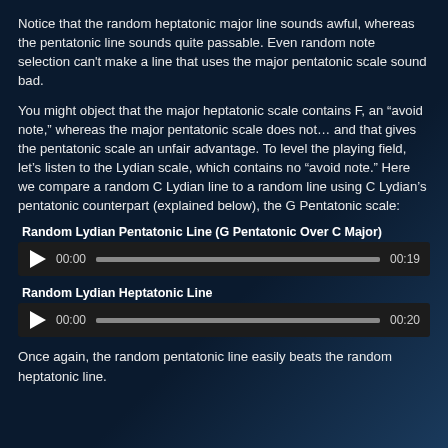Notice that the random heptatonic major line sounds awful, whereas the pentatonic line sounds quite passable. Even random note selection can't make a line that uses the major pentatonic scale sound bad.
You might object that the major heptatonic scale contains F, an “avoid note,” whereas the major pentatonic scale does not… and that gives the pentatonic scale an unfair advantage. To level the playing field, let’s listen to the Lydian scale, which contains no “avoid note.” Here we compare a random C Lydian line to a random line using C Lydian’s pentatonic counterpart (explained below), the G Pentatonic scale:
Random Lydian Pentatonic Line (G Pentatonic Over C Major)
[Figure (other): Audio player showing 00:00 / 00:19 with play button and progress bar]
Random Lydian Heptatonic Line
[Figure (other): Audio player showing 00:00 / 00:20 with play button and progress bar]
Once again, the random pentatonic line easily beats the random heptatonic line.